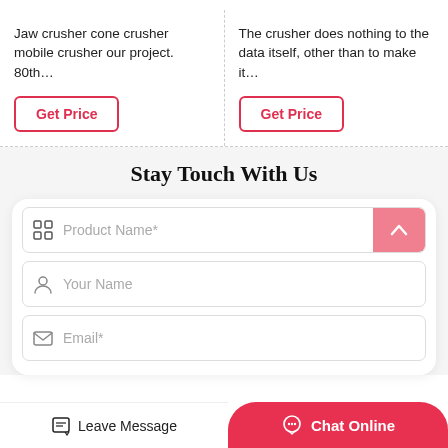Jaw crusher cone crusher mobile crusher our project. 80th…
The crusher does nothing to the data itself, other than to make it…
Get Price
Get Price
Stay Touch With Us
Product Name*
Your Name
Email*
Leave Message
Chat Online